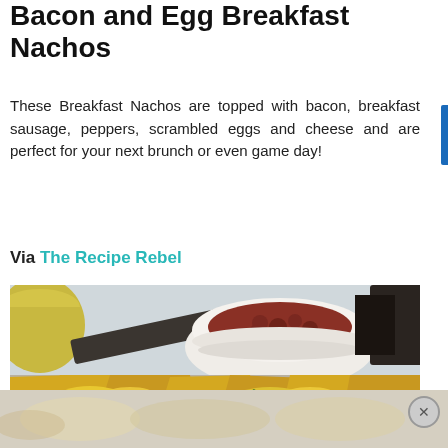Bacon and Egg Breakfast Nachos
These Breakfast Nachos are topped with bacon, breakfast sausage, peppers, scrambled eggs and cheese and are perfect for your next brunch or even game day!
Via The Recipe Rebel
[Figure (photo): Photo of breakfast nachos with melted cheese, scrambled eggs, bacon, and a small white ramekin of salsa/beans in the background, with a yellow bowl partially visible on the left.]